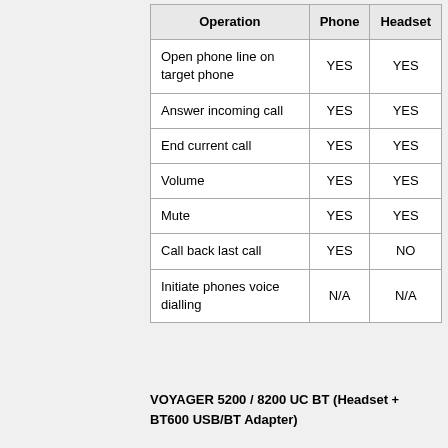| Operation | Phone | Headset |
| --- | --- | --- |
| Open phone line on target phone | YES | YES |
| Answer incoming call | YES | YES |
| End current call | YES | YES |
| Volume | YES | YES |
| Mute | YES | YES |
| Call back last call | YES | NO |
| Initiate phones voice dialling | N/A | N/A |
VOYAGER 5200 / 8200 UC BT (Headset + BT600 USB/BT Adapter)